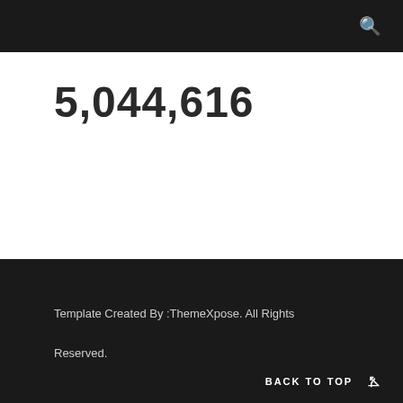5,044,616
Template Created By :ThemeXpose. All Rights Reserved.
BACK TO TOP